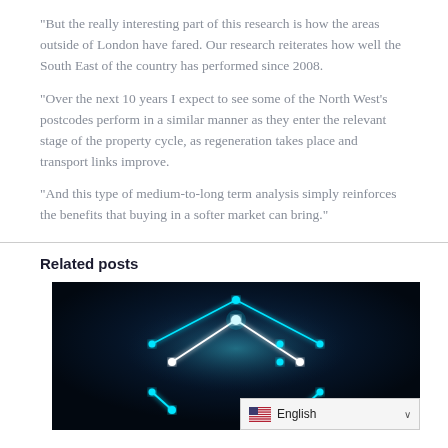“But the really interesting part of this research is how the areas outside of London have fared. Our research reiterates how well the South East of the country has performed since 2008.
“Over the next 10 years I expect to see some of the North West’s postcodes perform in a similar manner as they enter the relevant stage of the property cycle, as regeneration takes place and transport links improve.
“And this type of medium-to-long term analysis simply reinforces the benefits that buying in a softer market can bring.”
Related posts
[Figure (photo): A glowing cyan wireframe house structure against a dark blue/black background, representing a digital or smart home concept.]